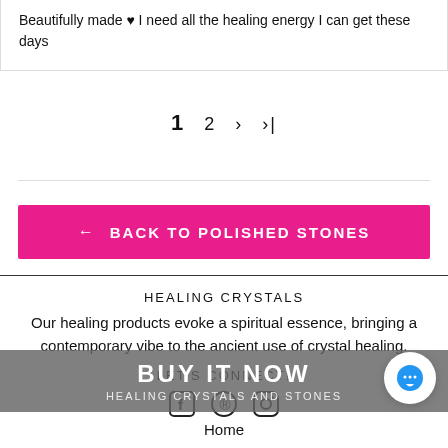Beautifully made ♥ I need all the healing energy I can get these days
1  2  >  >|
[Figure (other): Pink button with left arrow: BACK TO POLISHED STONES]
HEALING CRYSTALS
Our healing products evoke a spiritual essence, bringing a contemporary vibe to the ancient use of crystal healing.
LET'S CONNECT!
[Figure (other): Social media icons: Facebook, Pinterest, Instagram]
BUY IT NOW
HEALING CRYSTALS AND STONES
Home